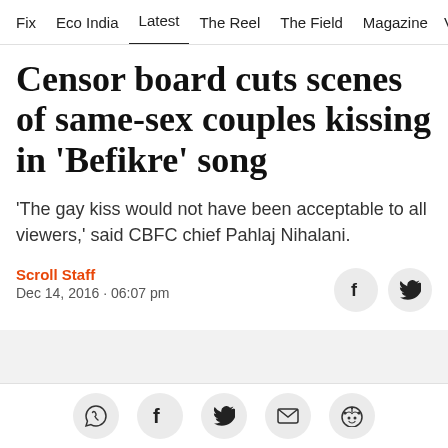Fix  Eco India  Latest  The Reel  The Field  Magazine  Vid
Censor board cuts scenes of same-sex couples kissing in 'Befikre' song
'The gay kiss would not have been acceptable to all viewers,' said CBFC chief Pahlaj Nihalani.
Scroll Staff
Dec 14, 2016 · 06:07 pm